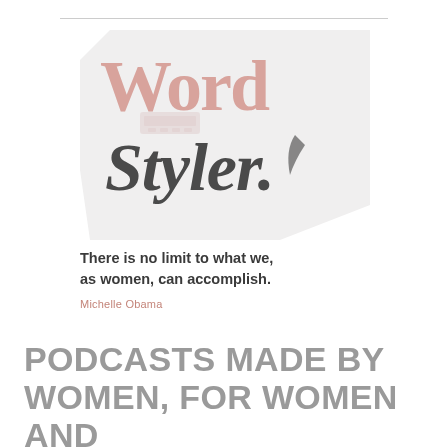[Figure (logo): WordStyler logo on light grey angular background. 'Word' in muted pink serif uppercase letters with a vintage typewriter graphic, 'Styler.' in dark grey cursive/script font with a quill feather accent.]
There is no limit to what we, as women, can accomplish.
Michelle Obama
PODCASTS MADE BY WOMEN, FOR WOMEN AND ALL OF OUR FAVOURITES.